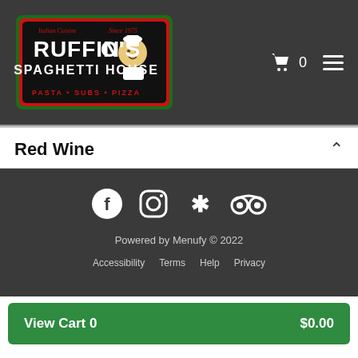[Figure (logo): Ruffino's Spaghetti House logo with chef illustration, red and green border, text: Italian Cuisine, Since 1975, Ruffino's Spaghetti House, Pasta Subs Pizza]
Red Wine
[Figure (infographic): Footer area with social media icons: Facebook, Instagram, Yelp, TripAdvisor, and footer text: Powered by Menufy © 2022, Accessibility, Terms, Help, Privacy]
View Cart 0   $0.00